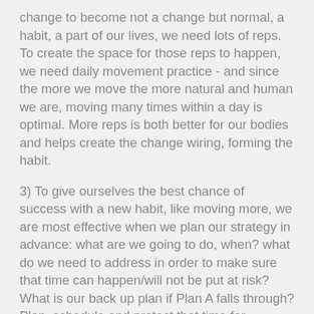change to become not a change but normal, a habit, a part of our lives, we need lots of reps. To create the space for those reps to happen, we need daily movement practice - and since the more we move the more natural and human we are, moving many times within a day is optimal. More reps is both better for our bodies and helps create the change wiring, forming the habit.
3) To give ourselves the best chance of success with a new habit, like moving more, we are most effective when we plan our strategy in advance: what are we going to do, when? what do we need to address in order to make sure that time can happen/will not be put at risk? What is our back up plan if Plan A falls through? Plan, schedule and protect that time for ourselves.
4) To make sure we keep going with our practice, what we do has to be gaged to hit a level of effort that enables us both to make progress and not kill ourselves. We need - as part of our plan - to start lighter than we think we need and ramp up progress from there.